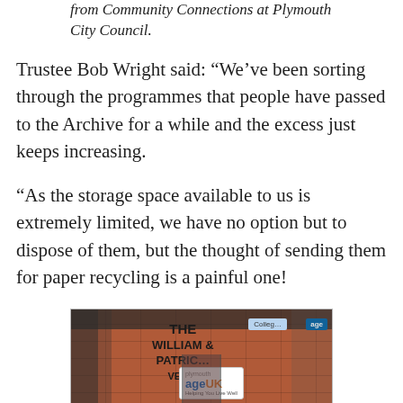from Community Connections at Plymouth City Council.
Trustee Bob Wright said: “We’ve been sorting through the programmes that people have passed to the Archive for a while and the excess just keeps increasing.
“As the storage space available to us is extremely limited, we have no option but to dispose of them, but the thought of sending them for paper recycling is a painful one!
[Figure (photo): Exterior photograph of The William & Patricia Ventry Centre building showing brick wall with signage including Plymouth Age UK logo]